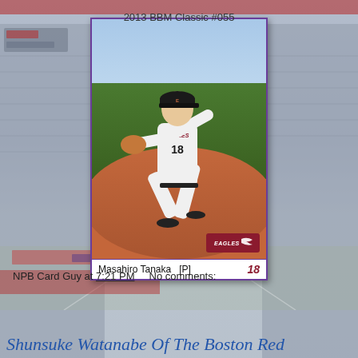[Figure (photo): Baseball trading card showing Masahiro Tanaka (#18) of the Tohoku Rakuten Eagles pitching, in white Eagles uniform. Card has purple border. Bottom of card reads 'Masahiro Tanaka [P] 18'. Background shows faded stadium imagery.]
2013 BBM Classic #055
NPB Card Guy at 7:21 PM   No comments:
Shunsuke Watanabe Of The Boston Red